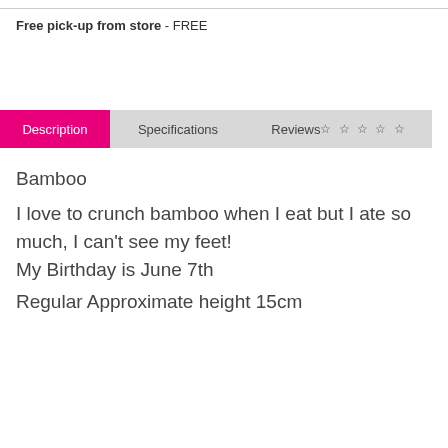Free pick-up from store - FREE
Description
Specifications
Reviews ☆☆☆☆☆
Bamboo
I love to crunch bamboo when I eat but I ate so much, I can't see my feet!
My Birthday is June 7th
Regular Approximate height 15cm